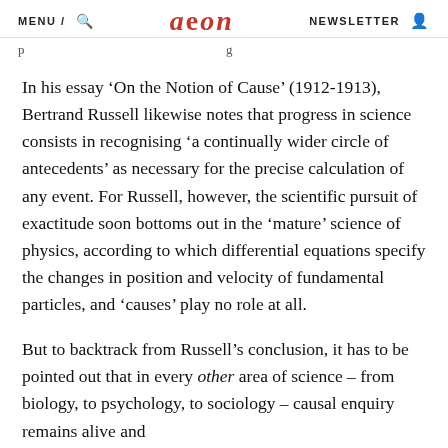MENU / 🔍   aeon   NEWSLETTER 👤
p                                                       g
In his essay 'On the Notion of Cause' (1912-1913), Bertrand Russell likewise notes that progress in science consists in recognising 'a continually wider circle of antecedents' as necessary for the precise calculation of any event. For Russell, however, the scientific pursuit of exactitude soon bottoms out in the 'mature' science of physics, according to which differential equations specify the changes in position and velocity of fundamental particles, and 'causes' play no role at all.
But to backtrack from Russell's conclusion, it has to be pointed out that in every other area of science – from biology, to psychology, to sociology – causal enquiry remains alive and